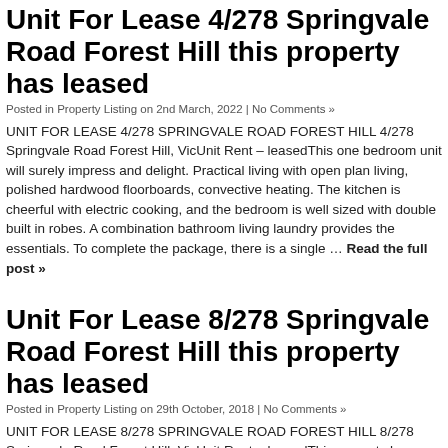Unit For Lease 4/278 Springvale Road Forest Hill this property has leased
Posted in Property Listing on 2nd March, 2022 | No Comments »
UNIT FOR LEASE 4/278 SPRINGVALE ROAD FOREST HILL 4/278 Springvale Road Forest Hill, VicUnit Rent – leasedThis one bedroom unit will surely impress and delight. Practical living with open plan living, polished hardwood floorboards, convective heating. The kitchen is cheerful with electric cooking, and the bedroom is well sized with double built in robes. A combination bathroom living laundry provides the essentials. To complete the package, there is a single … Read the full post »
Unit For Lease 8/278 Springvale Road Forest Hill this property has leased
Posted in Property Listing on 29th October, 2018 | No Comments »
UNIT FOR LEASE 8/278 SPRINGVALE ROAD FOREST HILL 8/278 Springvale Road Forest Hill, VicUnit Rent – leasedThis property has
[Figure (photo): Partial photo of a property, showing warm reddish-brown tones]